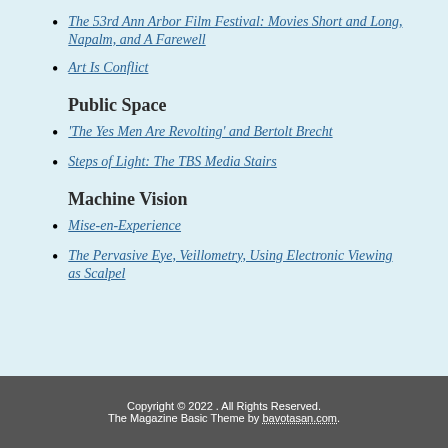The 53rd Ann Arbor Film Festival: Movies Short and Long, Napalm, and A Farewell
Art Is Conflict
Public Space
'The Yes Men Are Revolting' and Bertolt Brecht
Steps of Light: The TBS Media Stairs
Machine Vision
Mise-en-Experience
The Pervasive Eye, Veillometry, Using Electronic Viewing as Scalpel
Copyright © 2022 . All Rights Reserved. The Magazine Basic Theme by bavotasan.com.